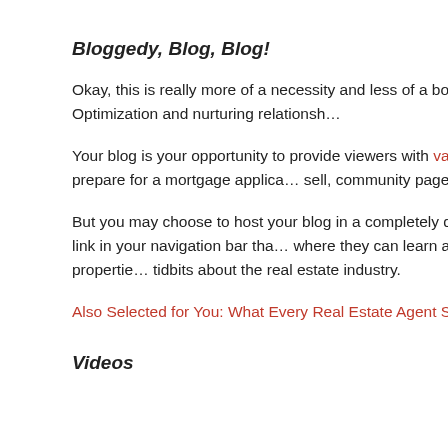Bloggedy, Blog, Blog!
Okay, this is really more of a necessity and less of a bonus with Search Engine Optimization and nurturing relationships.
Your blog is your opportunity to provide viewers with valuable information that will help them make a decision. How to prepare for a mortgage application, what to look for in homes to sell, community pages, hyperlocal pieces.
But you may choose to host your blog in a completely different place than your main website. No problem: Use a link in your navigation bar that points users to where they can learn all about buying or selling properties, and get interesting tidbits about the real estate industry.
Also Selected for You: What Every Real Estate Agent Sho...
Videos